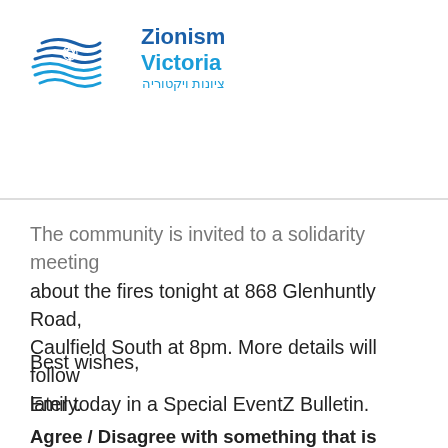[Figure (logo): Zionism Victoria logo with wave/star graphic and Hebrew text ציונות ויקטוריה]
The community is invited to a solidarity meeting about the fires tonight at 868 Glenhuntly Road, Caulfield South at 8pm. More details will follow later today in a Special EventZ Bulletin.
Best wishes,
Emily.
Agree / Disagree with something that is written here? Have your say by clicking here.
Please note: No email addresses will ever be